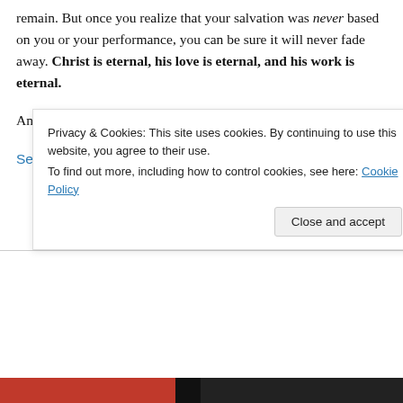remain. But once you realize that your salvation was never based on you or your performance, you can be sure it will never fade away. Christ is eternal, his love is eternal, and his work is eternal.
And that, dear friends, washes away all doubts of this world.
September 24, 2019
Privacy & Cookies: This site uses cookies. By continuing to use this website, you agree to their use. To find out more, including how to control cookies, see here: Cookie Policy